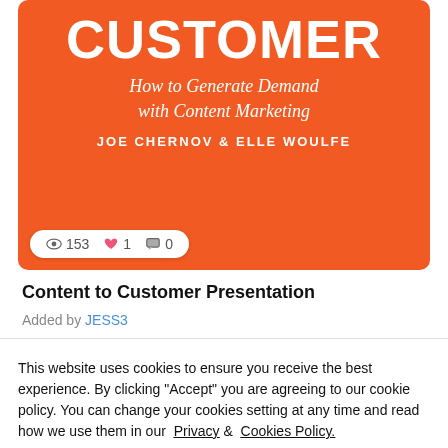[Figure (screenshot): Book/presentation cover image with orange background showing 'CUSTOMER' in large white bold text, subtitle 'How to Generate Demand with Content Marketing' in cursive white, authors 'JOE CHERNOV & ELLE WOULFE', with stats bar showing 153 views, 1 like, 0 comments]
Content to Customer Presentation
Added by JESS3
This website uses cookies to ensure you receive the best experience. By clicking "Accept" you are agreeing to our cookie policy. You can change your cookies setting at any time and read how we use them in our Privacy & Cookies Policy.